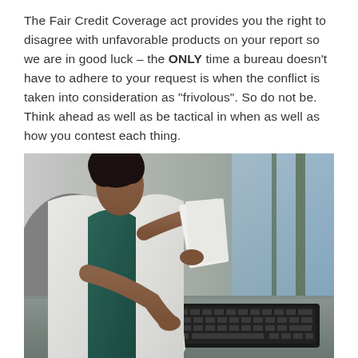The Fair Credit Coverage act provides you the right to disagree with unfavorable products on your report so we are in good luck – the ONLY time a bureau doesn't have to adhere to your request is when the conflict is taken into consideration as "frivolous". So do not be. Think ahead as well as be tactical in when as well as how you contest each thing.
[Figure (photo): A woman in a white blazer and teal/dark green top sitting at a desk, holding papers in one hand while using a laptop keyboard with the other. The setting appears to be near a window with natural light.]